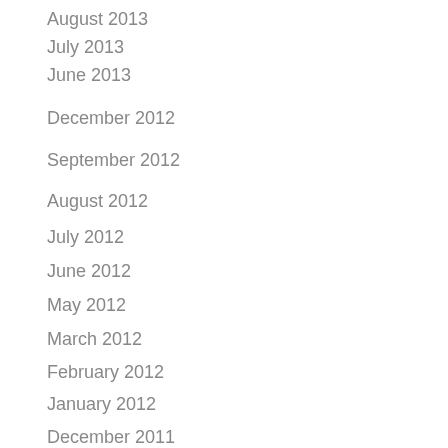August 2013
July 2013
June 2013
December 2012
September 2012
August 2012
July 2012
June 2012
May 2012
March 2012
February 2012
January 2012
December 2011
November 2011
October 2011